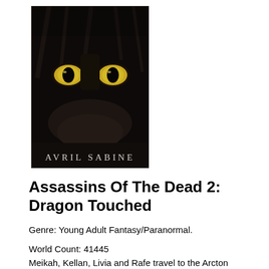[Figure (illustration): Book cover for 'Assassins Of The Dead 2: Dragon Touched' by Avril Sabine. Dark background featuring close-up of a black animal (cat or panther) with piercing yellow eyes. Author name 'AVRIL SABINE' appears in white text at the bottom of the cover.]
Assassins Of The Dead 2: Dragon Touched
Genre: Young Adult Fantasy/Paranormal.
World Count: 41445
Meikah, Kellan, Livia and Rafe travel to the Arcton Mountains when an assassin comes asking for help. A